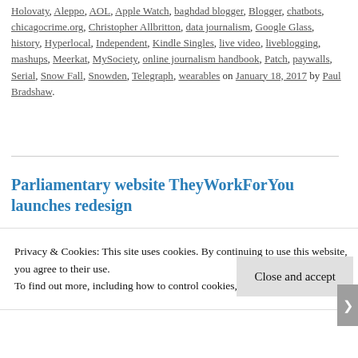Holovaty, Aleppo, AOL, Apple Watch, baghdad blogger, Blogger, chatbots, chicagocrime.org, Christopher Allbritton, data journalism, Google Glass, history, Hyperlocal, Independent, Kindle Singles, live video, liveblogging, mashups, Meerkat, MySociety, online journalism handbook, Patch, paywalls, Serial, Snow Fall, Snowden, Telegraph, wearables on January 18, 2017 by Paul Bradshaw.
Parliamentary website TheyWorkForYou launches redesign
Privacy & Cookies: This site uses cookies. By continuing to use this website, you agree to their use.
To find out more, including how to control cookies, see here: Cookie Policy